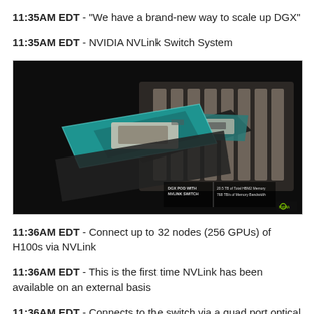11:35AM EDT - "We have a brand-new way to scale up DGX"
11:35AM EDT - NVIDIA NVLink Switch System
[Figure (photo): Product photo of NVIDIA NVLink Switch System chips on a dark background. Two teal/green colored chips are displayed in the foreground with additional hardware components visible in the background. Text overlay reads: DGX POD WITH NVLINK SWITCH | 20.5 TB of Total HBM2 Memory, 768 TB/s of Memory Bandwidth. NVIDIA logo visible bottom right.]
11:36AM EDT - Connect up to 32 nodes (256 GPUs) of H100s via NVLink
11:36AM EDT - This is the first time NVLink has been available on an external basis
11:36AM EDT - Connects to the switch via a quad port optical